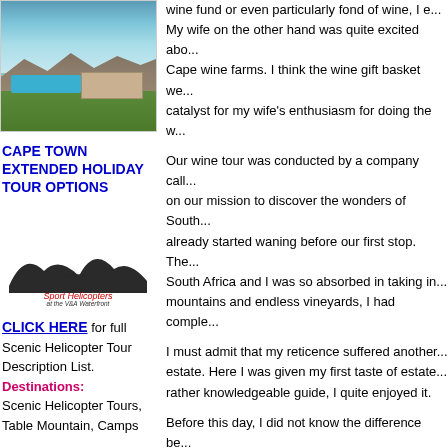[Figure (photo): Aerial or landscape photo of Cape wine farm estate with pool, mountains, and green vineyards]
CAPE TOWN EXTENDED HOLIDAY TOUR OPTIONS
[Figure (logo): Sport Helicopters at the V&A Waterfront logo with silhouette of helicopter and mountain]
CLICK HERE for full Scenic Helicopter Tour Description List. Destinations: Scenic Helicopter Tours, Table Mountain, Camps
wine fund or even particularly fond of wine, I... My wife on the other hand was quite excited abo... Cape wine farms. I think the wine gift basket we... catalyst for my wife's enthusiasm for doing the w...
Our wine tour was conducted by a company call... on our mission to discover the wonders of South... already started waning before our first stop. The... South Africa and I was so absorbed in taking in... mountains and endless vineyards, I had comple...
I must admit that my reticence suffered another... estate. Here I was given my first taste of estate... rather knowledgeable guide, I quite enjoyed it.
Before this day, I did not know the difference be... yes I was as bad as that! Not wanting to show m... opening it to swallow this now delicious liquid or... we visited a number of Cape wine estates and I... appreciation of wine was growing with every wi...
At the end of the wine tour, I must admit that my... to say, a wine tour in the Cape Winelands has b...
HIGHLIGHTS
Stellenbosch